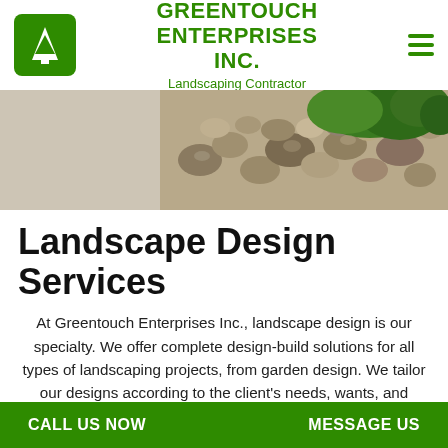GREENTOUCH ENTERPRISES INC. — Landscaping Contractor
[Figure (photo): Close-up photo of decorative garden stones, pebbles, and green moss/shrubs on a light concrete surface.]
Landscape Design Services
At Greentouch Enterprises Inc., landscape design is our specialty. We offer complete design-build solutions for all types of landscaping projects, from garden design. We tailor our designs according to the client's needs, wants, and budget, keeping an open line of communication to
CALL US NOW    MESSAGE US